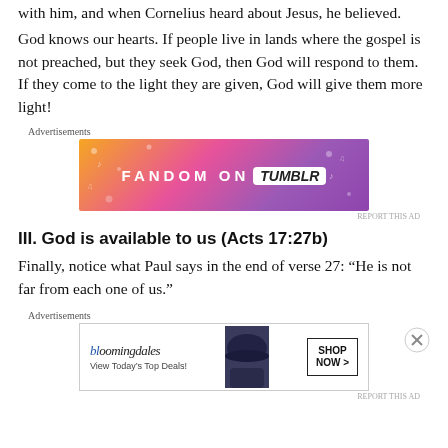with him, and when Cornelius heard about Jesus, he believed.
God knows our hearts. If people live in lands where the gospel is not preached, but they seek God, then God will respond to them. If they come to the light they are given, God will give them more light!
[Figure (other): Advertisement banner for Fandom on Tumblr with orange-to-purple gradient background]
III. God is available to us (Acts 17:27b)
Finally, notice what Paul says in the end of verse 27: “He is not far from each one of us.”
[Figure (other): Advertisement banner for Bloomingdales showing a woman in a hat with text 'View Today’s Top Deals!' and 'SHOP NOW >' button]